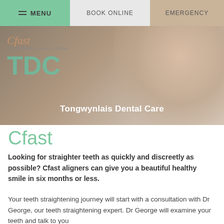MENU  BOOK ONLINE  EMERGENCY
[Figure (photo): Hero banner with Cfast and TDC logo overlay on left, woman smiling with text 'Tongwynlais Dental Care' centered]
Cfast
Looking for straighter teeth as quickly and discreetly as possible? Cfast aligners can give you a beautiful healthy smile in six months or less.
Your teeth straightening journey will start with a consultation with Dr George, our teeth straightening expert. Dr George will examine your teeth and talk to you